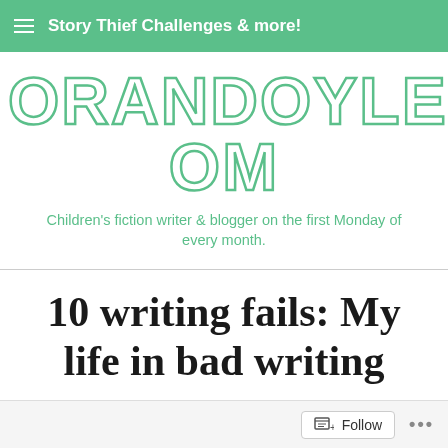Story Thief Challenges & more!
ORANDOYLE.COM
Children's fiction writer & blogger on the first Monday of every month.
10 writing fails: My life in bad writing
Follow